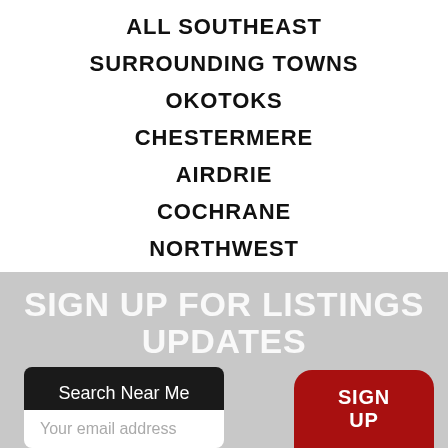ALL SOUTHEAST
SURROUNDING TOWNS
OKOTOKS
CHESTERMERE
AIRDRIE
COCHRANE
NORTHWEST
SIGN UP FOR LISTINGS UPDATES
Search Near Me
Your email address
SIGN UP